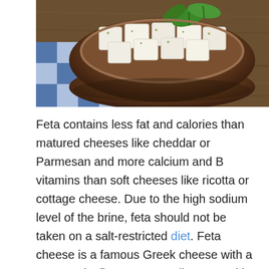[Figure (photo): A brown ceramic bowl filled with cubed white feta cheese topped with fresh green basil leaves and herbs, placed on a blue and white checkered cloth on a wooden surface.]
Feta contains less fat and calories than matured cheeses like cheddar or Parmesan and more calcium and B vitamins than soft cheeses like ricotta or cottage cheese. Due to the high sodium level of the brine, feta should not be taken on a salt-restricted diet. Feta cheese is a famous Greek cheese with a tangy, salty flavor. It's usually eaten with salads, although it can also be served with other savory foods. Although it is most known for its distinct salty flavor, it is also